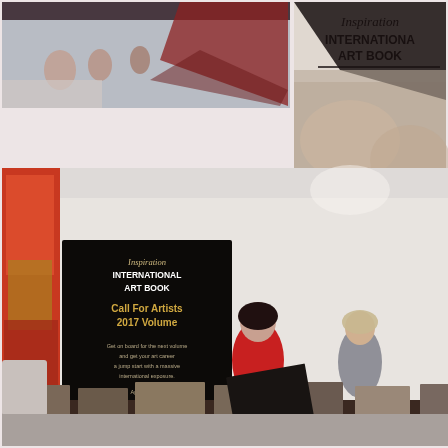[Figure (photo): Collage of four photos showing an art book exhibition booth. Top-left: trade show floor with people and booths. Top-right: close-up of 'Inspiration International Art Book Vol. 1' book cover with text 'Contemporary Masters Collection'. Main/center-left: exhibition booth with banner reading 'Inspiration International Art Book - Call For Artists 2017 Volume', two women at a table covered with brochures, one in red jacket. Bottom-right: small image of a banner reading 'Inspiration International Art Book - Call For Artists 2017 Volume'.]